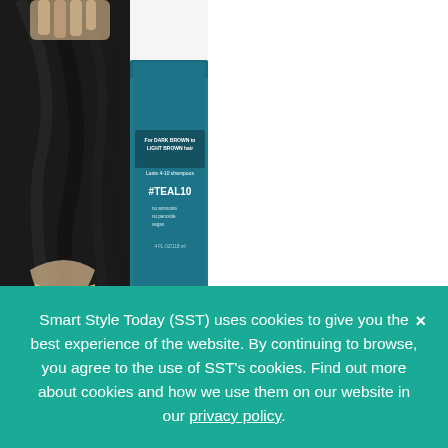[Figure (photo): A product photo showing a woman with dark wavy hair on the left side and a teal-colored hair dye box (labeled #TEAL10, for dark brown to light brown hair, lasts 4-10 shampoos, no ammonia, no peroxide, vegan, 4 FL OZ/118ml) on the right side of the image.]
This colorant comes from a well-known brand and is designed to give brunettes and pop of color. With a vegan formula and
Smart Style Today (SST) uses cookies to give you the best experience of the website. By continuing to browse, you agree to the use of SST's cookies. Find out more about cookies and how we use them on our website in our privacy policy.